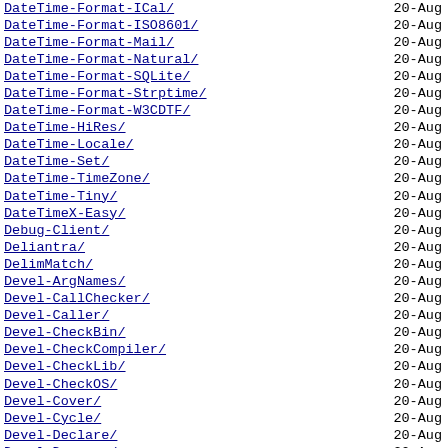DateTime-Format-ICal/ 20-Aug
DateTime-Format-ISO8601/ 20-Aug
DateTime-Format-Mail/ 20-Aug
DateTime-Format-Natural/ 20-Aug
DateTime-Format-SQLite/ 20-Aug
DateTime-Format-Strptime/ 20-Aug
DateTime-Format-W3CDTF/ 20-Aug
DateTime-HiRes/ 20-Aug
DateTime-Locale/ 20-Aug
DateTime-Set/ 20-Aug
DateTime-TimeZone/ 20-Aug
DateTime-Tiny/ 20-Aug
DateTimeX-Easy/ 20-Aug
Debug-Client/ 20-Aug
Deliantra/ 20-Aug
DelimMatch/ 20-Aug
Devel-ArgNames/ 20-Aug
Devel-CallChecker/ 20-Aug
Devel-Caller/ 20-Aug
Devel-CheckBin/ 20-Aug
Devel-CheckCompiler/ 20-Aug
Devel-CheckLib/ 20-Aug
Devel-CheckOS/ 20-Aug
Devel-Cover/ 20-Aug
Devel-Cycle/ 20-Aug
Devel-Declare/ 20-Aug
Devel-Dumpvar/ 20-Aug
Devel-FindPerl/ 20-Aug
Devel-GlobalDestruction/ 20-Aug
Devel-GlobalPhase/ 20-Aug
Devel-Hide/ 20-Aug